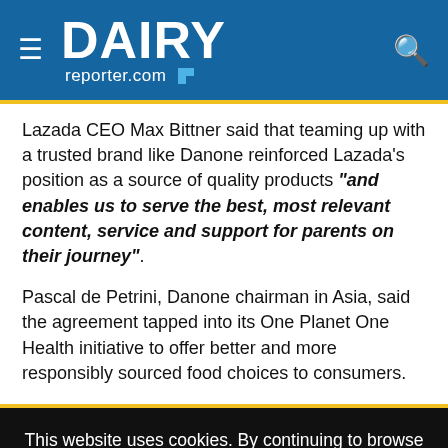DAIRY reporter.com
Lazada CEO Max Bittner said that teaming up with a trusted brand like Danone reinforced Lazada's position as a source of quality products "and enables us to serve the best, most relevant content, service and support for parents on their journey".
Pascal de Petrini, Danone chairman in Asia, said the agreement tapped into its One Planet One Health initiative to offer better and more responsibly sourced food choices to consumers.
This website uses cookies. By continuing to browse our website, you are agreeing to our use of cookies. You can learn more about cookies by visiting our privacy & cookies policy page.